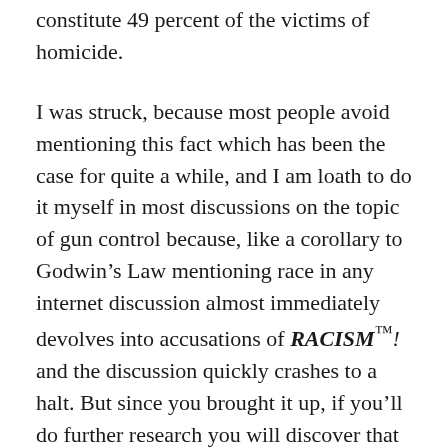constitute 49 percent of the victims of homicide.
I was struck, because most people avoid mentioning this fact which has been the case for quite a while, and I am loath to do it myself in most discussions on the topic of gun control because, like a corollary to Godwin’s Law mentioning race in any internet discussion almost immediately devolves into accusations of RACISM™! and the discussion quickly crashes to a halt. But since you brought it up, if you’ll do further research you will discover that about half of the perpetrators of homicide are also among that 13 percent of the population. In fact, they are far less than 13 percent. They are most definitely not suburban and rural white